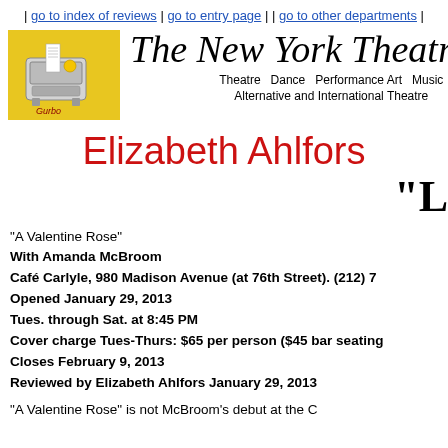| go to index of reviews | go to entry page | | go to other departments |
[Figure (logo): New York Theatre Wire logo with yellow background illustration of a teletype machine (Gurbo) and italic serif text 'The New York Theatre Wire' with subtitle 'Theatre Dance Performance Art Music Alternative and International Theatre']
Elizabeth Ahlfors
"L
"A Valentine Rose"
With Amanda McBroom
Café Carlyle, 980 Madison Avenue (at 76th Street). (212) 7
Opened January 29, 2013
Tues. through Sat. at 8:45 PM
Cover charge Tues-Thurs: $65 per person ($45 bar seating
Closes February 9, 2013
Reviewed by Elizabeth Ahlfors January 29, 2013
"A Valentine Rose" is not McBroom's debut at the C